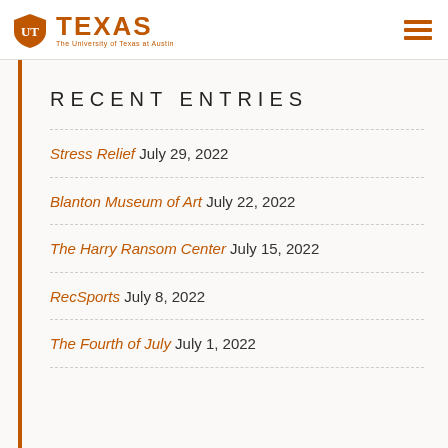TEXAS — The University of Texas at Austin
RECENT ENTRIES
Stress Relief July 29, 2022
Blanton Museum of Art July 22, 2022
The Harry Ransom Center July 15, 2022
RecSports July 8, 2022
The Fourth of July July 1, 2022